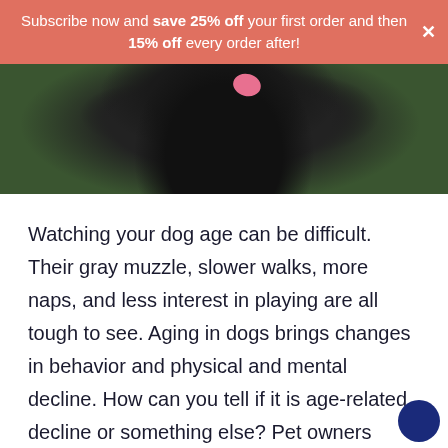Subscribe now and save 25% off your first order and then 15% off every order after!
[Figure (photo): Close-up photo of a black dog with tongue visible, outdoors on green background]
Watching your dog age can be difficult. Their gray muzzle, slower walks, more naps, and less interest in playing are all tough to see. Aging in dogs brings changes in behavior and physical and mental decline. How can you tell if it is age-related decline or something else? Pet owners should be aware of signs of both discomfort and aging so they can take steps to keep their dogs happy and comfortable throughout their golden years.